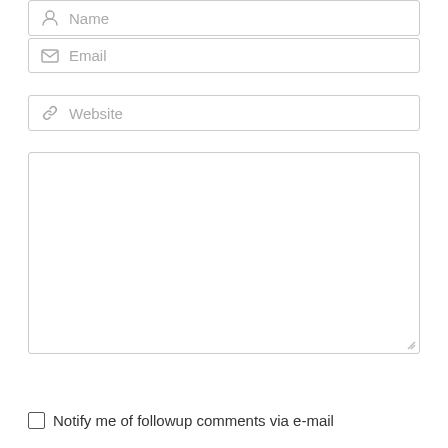[Figure (screenshot): A web comment form showing partially visible Name field at top, Email input field with envelope icon, Website input field with link icon, a large textarea for comment text, a Submit button with speech bubble icon, and a checkbox for 'Notify me of followup comments via e-mail'.]